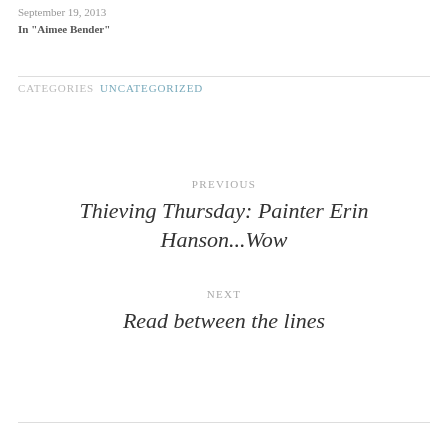September 19, 2013
In "Aimee Bender"
CATEGORIES  UNCATEGORIZED
PREVIOUS
Thieving Thursday: Painter Erin Hanson...Wow
NEXT
Read between the lines